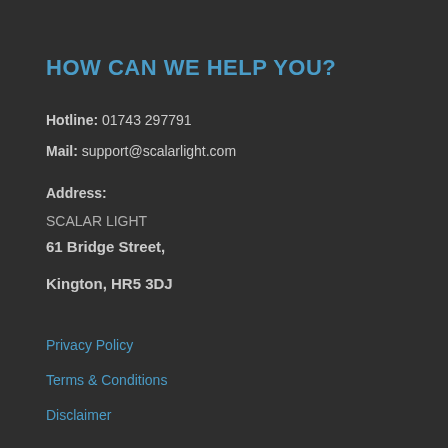HOW CAN WE HELP YOU?
Hotline: 01743 297791
Mail: support@scalarlight.com
Address:
SCALAR LIGHT
61 Bridge Street,
Kington, HR5 3DJ
Privacy Policy
Terms & Conditions
Disclaimer